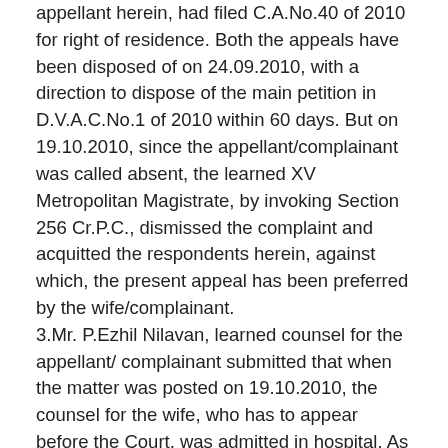appellant herein, had filed C.A.No.40 of 2010 for right of residence. Both the appeals have been disposed of on 24.09.2010, with a direction to dispose of the main petition in D.V.A.C.No.1 of 2010 within 60 days. But on 19.10.2010, since the appellant/complainant was called absent, the learned XV Metropolitan Magistrate, by invoking Section 256 Cr.P.C., dismissed the complaint and acquitted the respondents herein, against which, the present appeal has been preferred by the wife/complainant. 3.Mr. P.Ezhil Nilavan, learned counsel for the appellant/complainant submitted that when the matter was posted on 19.10.2010, the counsel for the wife, who has to appear before the Court, was admitted in hospital. As the wife/appellant herein was also suffering from stomach pain, she sent the medical certificate through her uncle and on her behalf, her uncle appeared before the Court